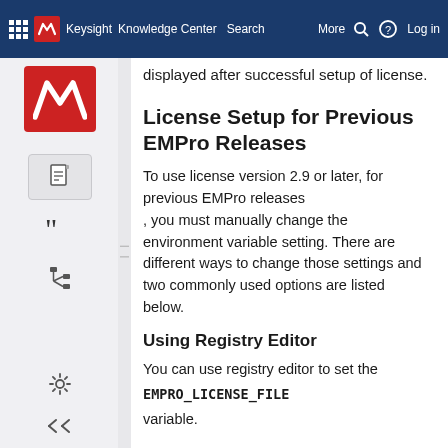Keysight Knowledge Center | More | Log in
displayed after successful setup of license.
License Setup for Previous EMPro Releases
To use license version 2.9 or later, for previous EMPro releases
, you must manually change the environment variable setting. There are different ways to change those settings and two commonly used options are listed below.
Using Registry Editor
You can use registry editor to set the
EMPRO_LICENSE_FILE
variable.